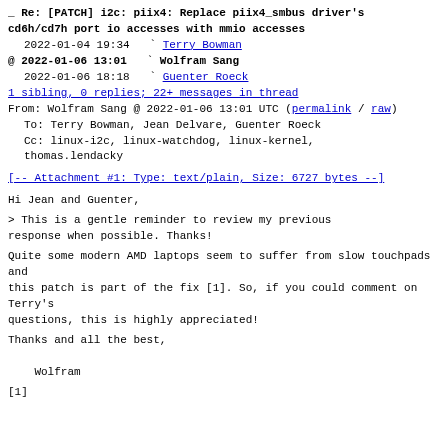Re: [PATCH] i2c: piix4: Replace piix4_smbus driver's cd6h/cd7h port io accesses with mmio accesses
2022-01-04 19:34   Terry Bowman
@ 2022-01-06 13:01   Wolfram Sang
2022-01-06 18:18   Guenter Roeck
1 sibling, 0 replies; 22+ messages in thread
From: Wolfram Sang @ 2022-01-06 13:01 UTC (permalink / raw)
To: Terry Bowman, Jean Delvare, Guenter Roeck
Cc: linux-i2c, linux-watchdog, linux-kernel, thomas.lendacky
[-- Attachment #1: Type: text/plain, Size: 6727 bytes --]
Hi Jean and Guenter,
> This is a gentle reminder to review my previous response when possible. Thanks!
Quite some modern AMD laptops seem to suffer from slow touchpads and
this patch is part of the fix [1]. So, if you could comment on Terry's
questions, this is highly appreciated!
Thanks and all the best,

    Wolfram
[1]